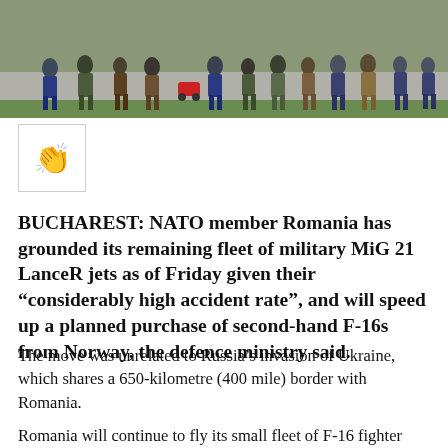[Figure (photo): Photograph of military personnel and civilians walking on a tarmac or airfield, viewed from behind, with green grass visible at the bottom edge.]
[Figure (other): Clapping hands emoji icon inside a bordered square box.]
BUCHAREST: NATO member Romania has grounded its remaining fleet of military MiG 21 LanceR jets as of Friday given their “considerably high accident rate”, and will speed up a planned purchase of second-hand F-16s from Norway, the defence ministry said.
The move was unrelated to Russia’s invasion of Ukraine, which shares a 650-kilometre (400 mile) border with Romania.
Romania will continue to fly its small fleet of F-16 fighter